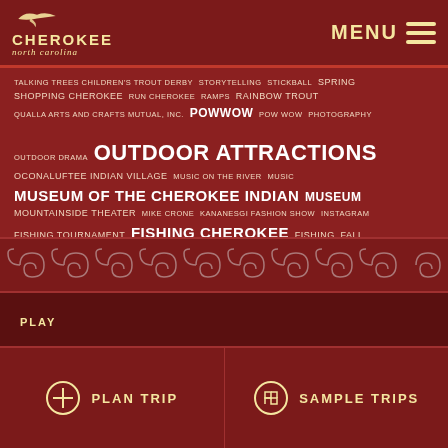CHEROKEE north carolina | MENU
[Figure (infographic): Tag cloud of Cherokee North Carolina tourism keywords on dark red background. Words include: TALKING TREES CHILDREN'S TROUT DERBY STORYTELLING STICKBALL SPRING SHOPPING CHEROKEE RUN CHEROKEE RAMPS RAINBOW TROUT QUALLA ARTS AND CRAFTS MUTUAL INC POWWOW POW WOW PHOTOGRAPHY OUTDOOR DRAMA OUTDOOR ATTRACTIONS OCONALUFTEE INDIAN VILLAGE MUSIC ON THE RIVER MUSIC MUSEUM OF THE CHEROKEE INDIAN MUSEUM MOUNTAINSIDE THEATER MIKE CRONE KANANESGI FASHION SHOW INSTAGRAM FISHING TOURNAMENT FISHING CHEROKEE FISHING FALL EXPLORE CHEROKEE EVENTS DRUMMING DRUM DRAMA DANCE CULTURE CHEROKEE VOICES FESTIVAL CHEROKEE VOICES CHEROKEE STORIES CHEROKEE POTTERY CHEROKEE INDIAN FAIR CHEROKEE FRIENDS CHEROKEE FOOD CHEROKEE FASHION CHEROKEE CRAFTS CHEROKEE BONFIRE CHEROKEE ARTISTS BONFIRE ATTRACTIONS]
[Figure (illustration): Decorative Native American pattern band with repeating spiral/wave motifs in lighter red on dark red background]
PLAY
PLAN TRIP
SAMPLE TRIPS